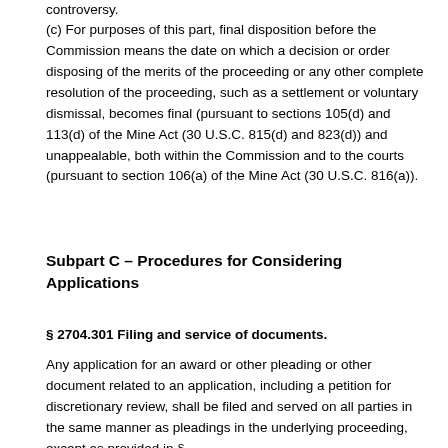controversy.
(c) For purposes of this part, final disposition before the Commission means the date on which a decision or order disposing of the merits of the proceeding or any other complete resolution of the proceeding, such as a settlement or voluntary dismissal, becomes final (pursuant to sections 105(d) and 113(d) of the Mine Act (30 U.S.C. 815(d) and 823(d)) and unappealable, both within the Commission and to the courts (pursuant to section 106(a) of the Mine Act (30 U.S.C. 816(a)).
Subpart C – Procedures for Considering Applications
§ 2704.301 Filing and service of documents.
Any application for an award or other pleading or other document related to an application, including a petition for discretionary review, shall be filed and served on all parties in the same manner as pleadings in the underlying proceeding, except as provided in §